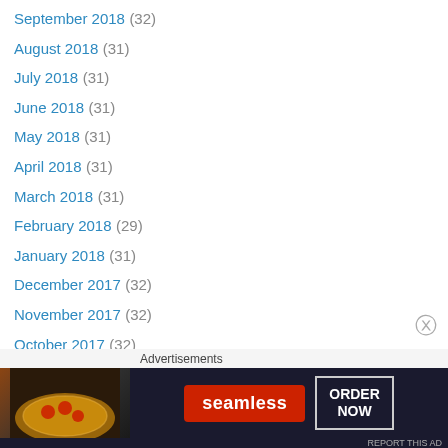September 2018 (32)
August 2018 (31)
July 2018 (31)
June 2018 (31)
May 2018 (31)
April 2018 (31)
March 2018 (31)
February 2018 (29)
January 2018 (31)
December 2017 (32)
November 2017 (32)
October 2017 (32)
September 2017 (31)
August 2017 (30)
July 2017 (31)
June 2017 (30)
May 2017 (32)
Advertisements
[Figure (other): Seamless food delivery advertisement banner with pizza image, Seamless logo in red, and ORDER NOW button]